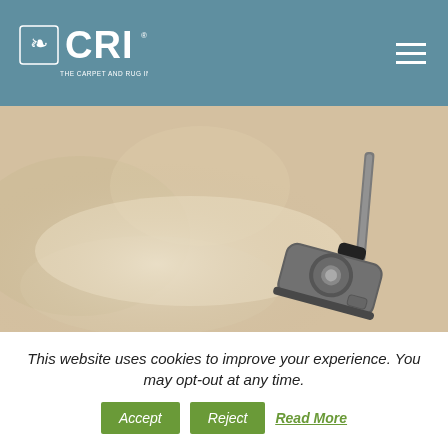CRI – The Carpet and Rug Institute
[Figure (photo): Close-up photo of beige/cream carpet being vacuumed by a grey vacuum cleaner head, from an elevated angle. The carpet fibers are visible and there is a lighter cleaned stripe where the vacuum has passed.]
This website uses cookies to improve your experience. You may opt-out at any time.
Accept
Reject
Read More